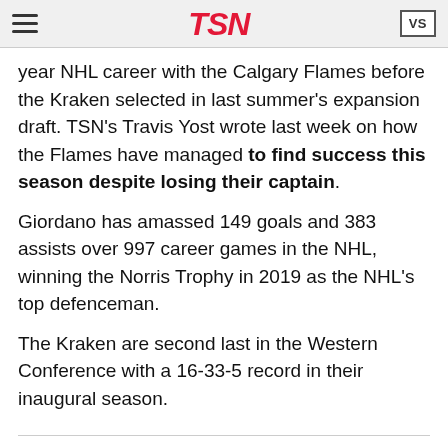TSN
year NHL career with the Calgary Flames before the Kraken selected in last summer's expansion draft. TSN's Travis Yost wrote last week on how the Flames have managed to find success this season despite losing their captain.
Giordano has amassed 149 goals and 383 assists over 997 career games in the NHL, winning the Norris Trophy in 2019 as the NHL's top defenceman.
The Kraken are second last in the Western Conference with a 16-33-5 record in their inaugural season.
Goalie Fight?
The Edmonton Oilers have been long-rumoured to be in the market for a goaltender this season, but it appears they